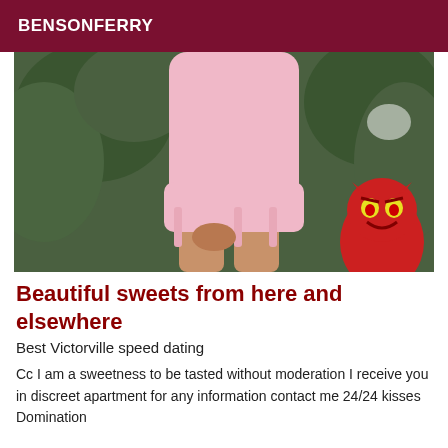BENSONFERRY
[Figure (photo): A person wearing a pink outfit standing outdoors near green foliage, with a cartoon red devil character visible in the lower right corner.]
Beautiful sweets from here and elsewhere
Best Victorville speed dating
Cc I am a sweetness to be tasted without moderation I receive you in discreet apartment for any information contact me 24/24 kisses Domination